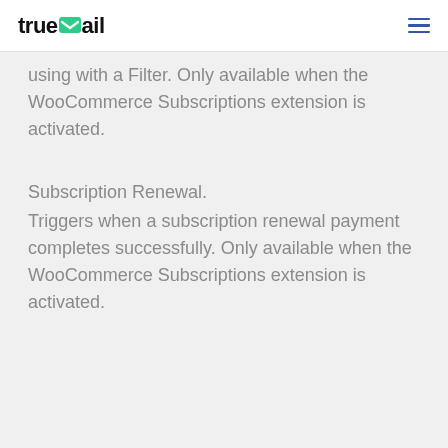trueMail
using with a Filter. Only available when the WooCommerce Subscriptions extension is activated.
Subscription Renewal.
Triggers when a subscription renewal payment completes successfully. Only available when the WooCommerce Subscriptions extension is activated.